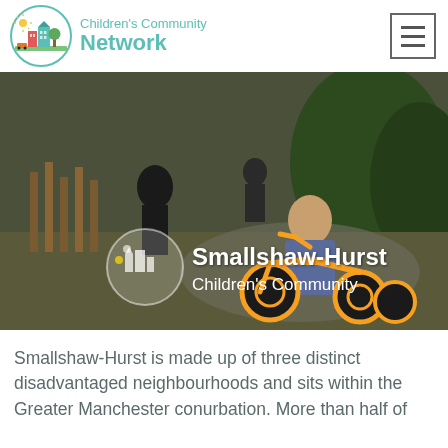[Figure (logo): Children's Community Network logo with circular illustrated icon showing buildings, trees and sun, with teal text 'Children's Community Network']
[Figure (photo): A young boy riding an orange tricycle in a playground, with other children in the background. Overlaid with the Smallshaw-Hurst Children's Community logo and text.]
Smallshaw-Hurst is made up of three distinct disadvantaged neighbourhoods and sits within the Greater Manchester conurbation. More than half of